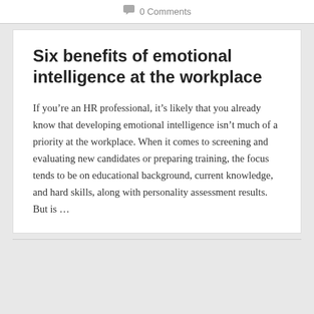0 Comments
Six benefits of emotional intelligence at the workplace
If you’re an HR professional, it’s likely that you already know that developing emotional intelligence isn’t much of a priority at the workplace. When it comes to screening and evaluating new candidates or preparing training, the focus tends to be on educational background, current knowledge, and hard skills, along with personality assessment results. But is …